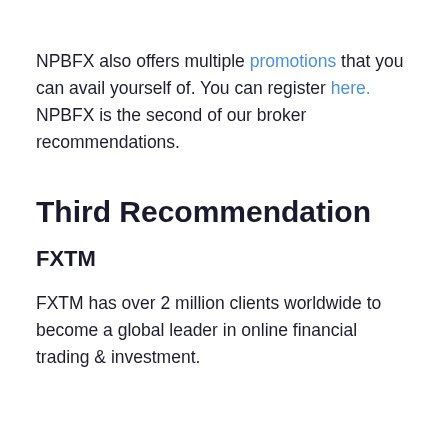NPBFX also offers multiple promotions that you can avail yourself of. You can register here. NPBFX is the second of our broker recommendations.
Third Recommendation
FXTM
FXTM has over 2 million clients worldwide to become a global leader in online financial trading & investment.